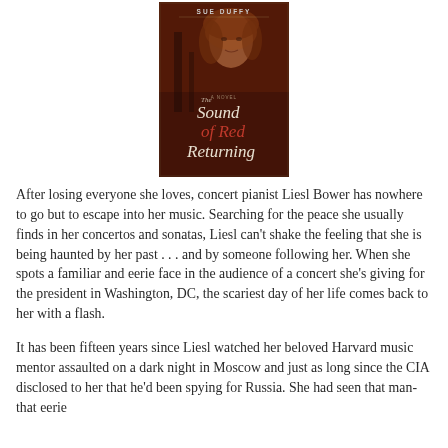[Figure (illustration): Book cover for 'The Sound of Red Returning' by Sue Duffy. Dark reddish-brown background with a woman's face (blonde/auburn hair). Title in elegant serif font. Author name at top.]
After losing everyone she loves, concert pianist Liesl Bower has nowhere to go but to escape into her music. Searching for the peace she usually finds in her concertos and sonatas, Liesl can't shake the feeling that she is being haunted by her past . . . and by someone following her. When she spots a familiar and eerie face in the audience of a concert she's giving for the president in Washington, DC, the scariest day of her life comes back to her with a flash.
It has been fifteen years since Liesl watched her beloved Harvard music mentor assaulted on a dark night in Moscow and just as long since the CIA disclosed to her that he'd been spying for Russia. She had seen that man-that eerie